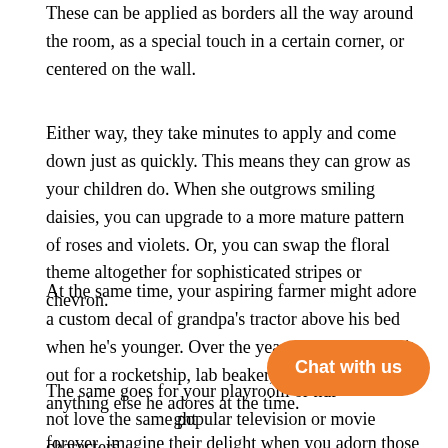These can be applied as borders all the way around the room, as a special touch in a certain corner, or centered on the wall.
Either way, they take minutes to apply and come down just as quickly. This means they can grow as your children do. When she outgrows smiling daisies, you can upgrade to a more mature pattern of roses and violets. Or, you can swap the floral theme altogether for sophisticated stripes or chevron.
At the same time, your aspiring farmer might adore a custom decal of grandpa's tractor above his bed when he's younger. Over the years, you can swap it out for a rocketship, lab beaker, music note or anything else he adores at the time.
The same goes for your playroom or nur… ght not love the same popular television or movie characters forever, imagine their delight when you adorn those walls with
[Figure (other): Orange rounded rectangle chat button with white text reading 'Chat with us']